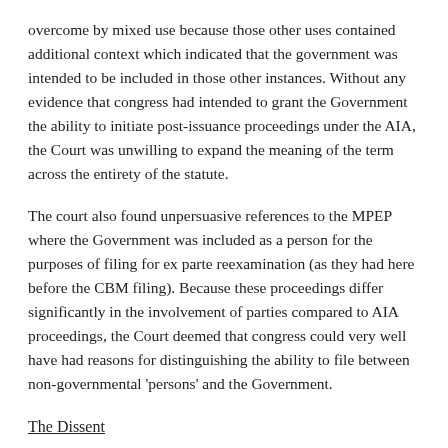overcome by mixed use because those other uses contained additional context which indicated that the government was intended to be included in those other instances. Without any evidence that congress had intended to grant the Government the ability to initiate post-issuance proceedings under the AIA, the Court was unwilling to expand the meaning of the term across the entirety of the statute.
The court also found unpersuasive references to the MPEP where the Government was included as a person for the purposes of filing for ex parte reexamination (as they had here before the CBM filing). Because these proceedings differ significantly in the involvement of parties compared to AIA proceedings, the Court deemed that congress could very well have had reasons for distinguishing the ability to file between non-governmental 'persons' and the Government.
The Dissent